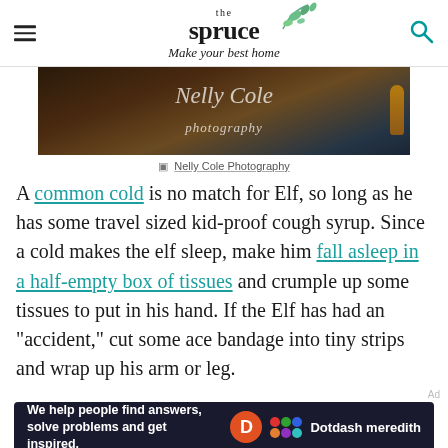the spruce — Make your best home
[Figure (photo): Dark photo background with 'Nelly Cole photography' watermark text and a wooden spoon visible on right]
Nelly Cole Photography
A common cold is no match for Elf, so long as he has some travel sized kid-proof cough syrup. Since a cold makes the elf sleep, make him fall asleep in a half-empty box of tissues and crumble up some tissues to put in his hand. If the Elf has had an "accident," cut some ace bandage into tiny strips and wrap up his arm or leg.
[Figure (infographic): Dotdash Meredith advertisement banner: 'We help people find answers, solve problems and get inspired.']